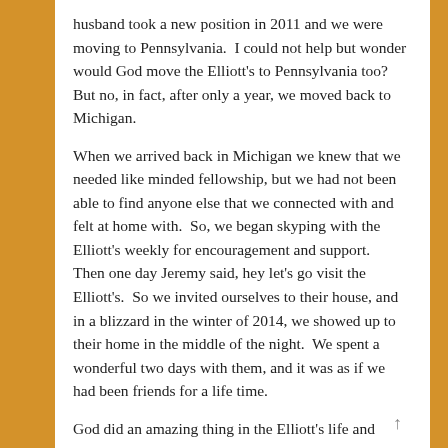husband took a new position in 2011 and we were moving to Pennsylvania.  I could not help but wonder would God move the Elliott's to Pennsylvania too?  But no, in fact, after only a year, we moved back to Michigan.
When we arrived back in Michigan we knew that we needed like minded fellowship, but we had not been able to find anyone else that we connected with and felt at home with.  So, we began skyping with the Elliott's weekly for encouragement and support.  Then one day Jeremy said, hey let's go visit the Elliott's.  So we invited ourselves to their house, and in a blizzard in the winter of 2014, we showed up to their home in the middle of the night.  We spent a wonderful two days with them, and it was as if we had been friends for a life time.
God did an amazing thing in the Elliott's life and